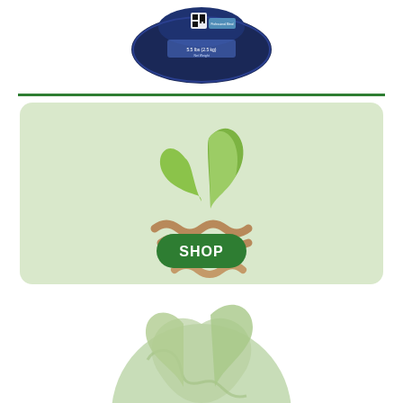[Figure (photo): A blue bag of fertilizer/agricultural product with white text and a QR code on the packaging]
[Figure (logo): Green agricultural logo with two leaves above brown wavy field rows forming a plant/sprout shape, on a light green rounded rectangle card background with a green SHOP button]
[Figure (logo): Light green circular logo partially visible at the bottom showing a globe with a plant/leaf motif]